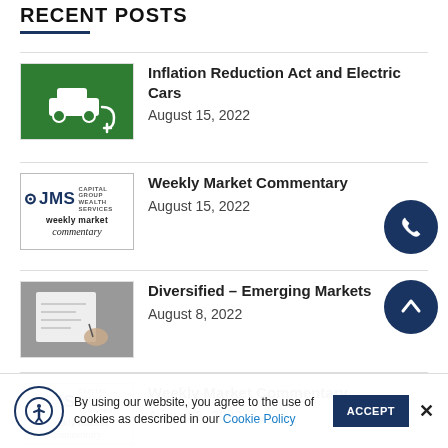RECENT POSTS
[Figure (photo): Green EV charging station icon with white car and plug symbol]
Inflation Reduction Act and Electric Cars
August 15, 2022
[Figure (logo): JMS Capital Group Wealth Services - weekly market commentary logo]
Weekly Market Commentary
August 15, 2022
[Figure (photo): Person drawing plans on paper with a pen]
Diversified – Emerging Markets
August 8, 2022
[Figure (logo): JMS Capital Group Wealth Services - weekly market commentary logo]
Weekly Market Commentary
August 8, 2022
By using our website, you agree to the use of cookies as described in our Cookie Policy